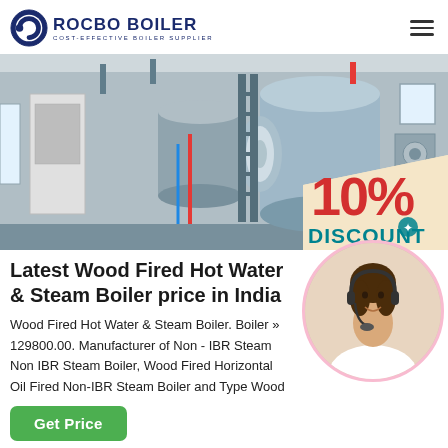[Figure (logo): Rocbo Boiler logo with circular C-shaped icon and text 'ROCBO BOILER / COST-EFFECTIVE BOILER SUPPLIER']
[Figure (photo): Industrial boiler room with large cylindrical steam boilers, pipes, and support structures. A 10% DISCOUNT badge overlays the bottom-right corner.]
Latest Wood Fired Hot Water & Steam Boiler price in India
Wood Fired Hot Water & Steam Boiler. Boiler » 129800.00. Manufacturer of Non - IBR Steam Non IBR Steam Boiler, Wood Fired Horizontal Oil Fired Non-IBR Steam Boiler and Type Wood
[Figure (photo): Customer service agent (woman with headset) photo in circular frame at bottom right]
Get Price